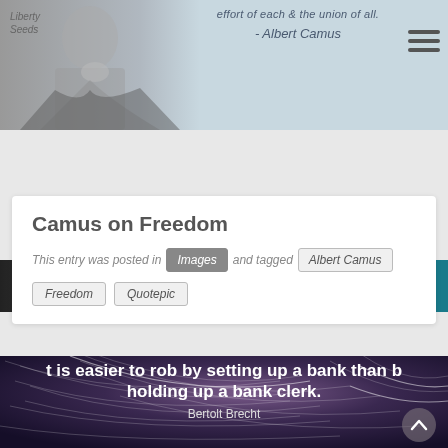[Figure (screenshot): Top banner with black and white photo of Albert Camus on left, light blue background with italic quote text 'effort of each & the union of all.' and attribution '- Albert Camus' on right, hamburger menu icon top right, 'Liberty Seeds' logo top left]
[Figure (screenshot): Learn Liberty banner strip with dark photo of Camus on left side and teal background with 'Learn Liberty' text (Liberty in gold) on right]
Camus on Freedom
This entry was posted in Images and tagged Albert Camus Freedom Quotepic
[Figure (photo): Dark star trails night sky photo background with large white bold text reading 'it is easier to rob by setting up a bank than b holding up a bank clerk.' and attribution 'Bertolt Brecht' below, with upward chevron arrow button on right]